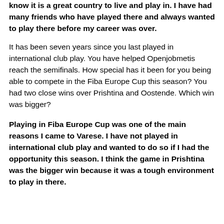know it is a great country to live and play in. I have had many friends who have played there and always wanted to play there before my career was over.
It has been seven years since you last played in international club play. You have helped Openjobmetis reach the semifinals. How special has it been for you being able to compete in the Fiba Europe Cup this season? You had two close wins over Prishtina and Oostende. Which win was bigger?
Playing in Fiba Europe Cup was one of the main reasons I came to Varese. I have not played in international club play and wanted to do so if I had the opportunity this season. I think the game in Prishtina was the bigger win because it was a tough environment to play in there.